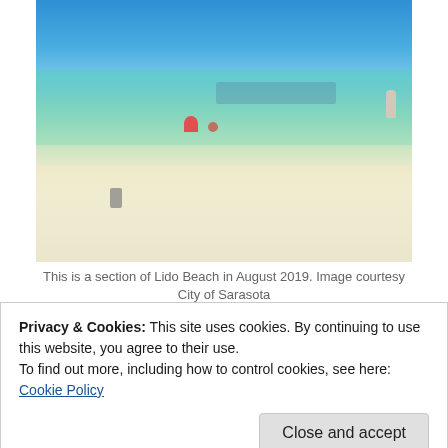[Figure (photo): Beach scene at Lido Beach in August 2019, showing blue sky, green-turquoise water, white sandy shore with swimmers and a person walking on the right, and a seabird in the foreground. Beach structures and umbrellas visible in the distance.]
This is a section of Lido Beach in August 2019. Image courtesy City of Sarasota
Privacy & Cookies: This site uses cookies. By continuing to use this website, you agree to their use.
To find out more, including how to control cookies, see here: Cookie Policy
booster pumps. “I have not heard anything yet